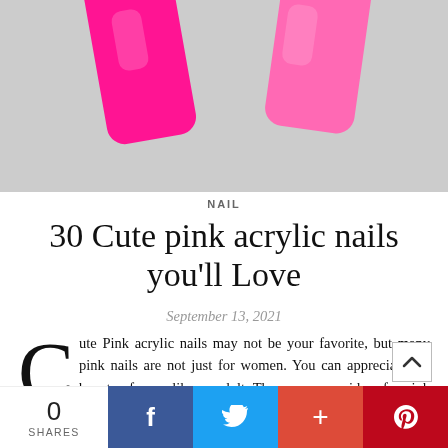[Figure (photo): Close-up photo of bright neon pink acrylic nails on a gray background]
NAIL
30 Cute pink acrylic nails you'll Love
September 13, 2021
Cute Pink acrylic nails may not be your favorite, but many pink nails are not just for women. You can appreciate the beauty of roses like an adult. There are many ideas for pink nails, from feminine roses to
0 SHARES  [Facebook] [Twitter] [+] [Pinterest]